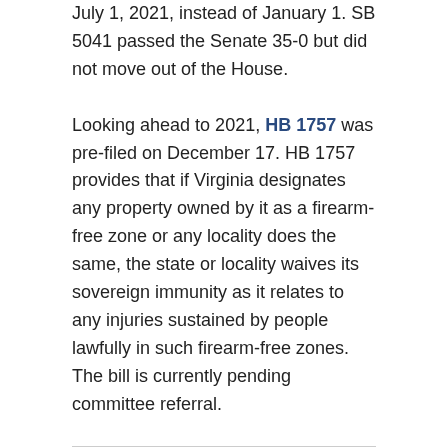July 1, 2021, instead of January 1. SB 5041 passed the Senate 35-0 but did not move out of the House.
Looking ahead to 2021, HB 1757 was pre-filed on December 17. HB 1757 provides that if Virginia designates any property owned by it as a firearm-free zone or any locality does the same, the state or locality waives its sovereign immunity as it relates to any injuries sustained by people lawfully in such firearm-free zones. The bill is currently pending committee referral.
Pennsylvania